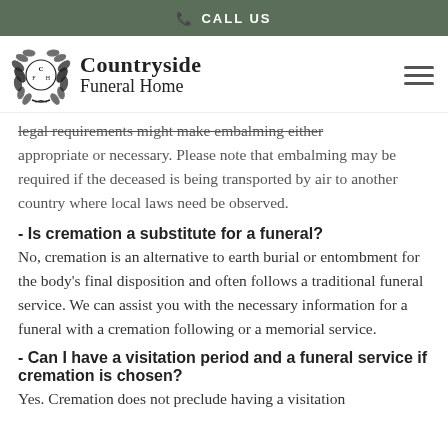CALL US
[Figure (logo): Countryside Funeral Home logo with wreath emblem and text]
legal requirements might make embalming either appropriate or necessary. Please note that embalming may be required if the deceased is being transported by air to another country where local laws need be observed.
- Is cremation a substitute for a funeral?
No, cremation is an alternative to earth burial or entombment for the body's final disposition and often follows a traditional funeral service. We can assist you with the necessary information for a funeral with a cremation following or a memorial service.
- Can I have a visitation period and a funeral service if cremation is chosen?
Yes. Cremation does not preclude having a visitation